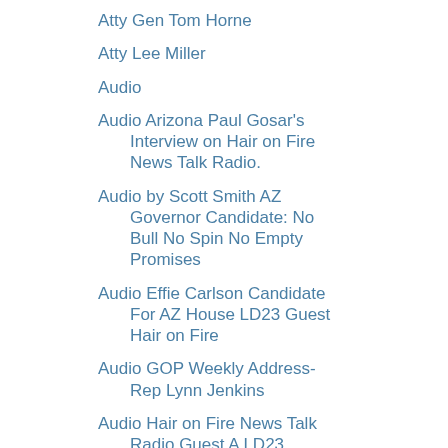Atty Gen Tom Horne
Atty Lee Miller
Audio
Audio Arizona Paul Gosar's Interview on Hair on Fire News Talk Radio.
Audio by Scott Smith AZ Governor Candidate: No Bull No Spin No Empty Promises
Audio Effie Carlson Candidate For AZ House LD23 Guest Hair on Fire
Audio GOP Weekly Address- Rep Lynn Jenkins
Audio Hair on Fire News Talk Radio Guest A LD23 Candidate Sheila K. Muehling For Chairman
Audio Hair on Fire News Talk Radio Guest: Brenda Barton-AZ House of